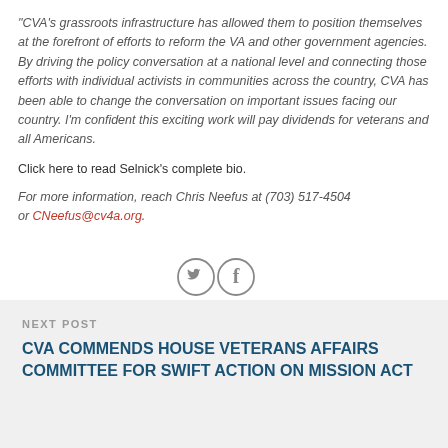"CVA's grassroots infrastructure has allowed them to position themselves at the forefront of efforts to reform the VA and other government agencies. By driving the policy conversation at a national level and connecting those efforts with individual activists in communities across the country, CVA has been able to change the conversation on important issues facing our country. I'm confident this exciting work will pay dividends for veterans and all Americans.
Click here to read Selnick's complete bio.
For more information, reach Chris Neefus at (703) 517-4504 or CNeefus@cv4a.org.
[Figure (other): Twitter and Facebook social sharing icons, two circular outlined icons side by side]
NEXT POST
CVA COMMENDS HOUSE VETERANS AFFAIRS COMMITTEE FOR SWIFT ACTION ON MISSION ACT